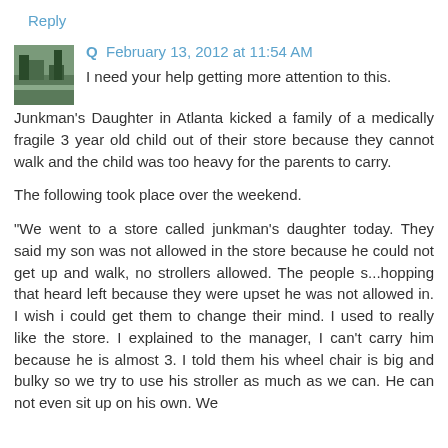Reply
Q  February 13, 2012 at 11:54 AM
I need your help getting more attention to this.
Junkman's Daughter in Atlanta kicked a family of a medically fragile 3 year old child out of their store because they cannot walk and the child was too heavy for the parents to carry.
The following took place over the weekend.
"We went to a store called junkman's daughter today. They said my son was not allowed in the store because he could not get up and walk, no strollers allowed. The people s...hopping that heard left because they were upset he was not allowed in. I wish i could get them to change their mind. I used to really like the store. I explained to the manager, I can't carry him because he is almost 3. I told them his wheel chair is big and bulky so we try to use his stroller as much as we can. He can not even sit up on his own. We